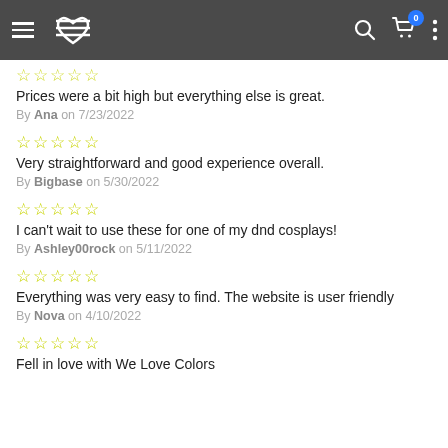Navigation header with menu, logo, search, cart (0), more options
Prices were a bit high but everything else is great.
By Ana on 7/23/2022
Very straightforward and good experience overall.
By Bigbase on 5/30/2022
I can't wait to use these for one of my dnd cosplays!
By Ashley00rock on 5/11/2022
Everything was very easy to find. The website is user friendly
By Nova on 4/10/2022
Fell in love with We Love Colors